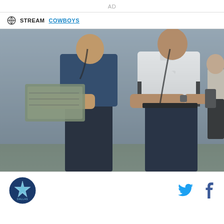AD
STREAM COWBOYS
[Figure (photo): Two men on a football sideline, one in a white polo shirt and dark pants holding a play sheet, another in a dark navy top, both appear to be coaches reviewing plays during a game.]
[Figure (logo): Dallas Cowboys star logo circular badge]
Twitter and Facebook social share icons